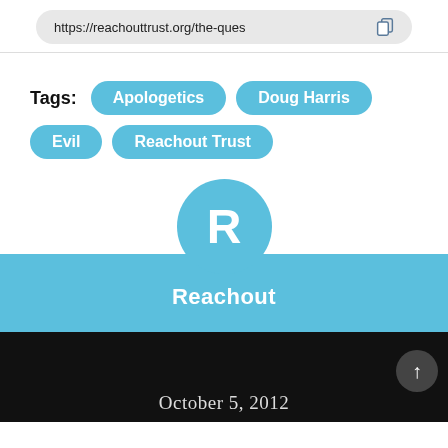https://reachouttrust.org/the-ques
Tags: Apologetics  Doug Harris  Evil  Reachout Trust
[Figure (logo): Reachout Trust logo: a circle with white letter R on sky-blue background, above the text 'Reachout' on a sky-blue banner]
October 5, 2012